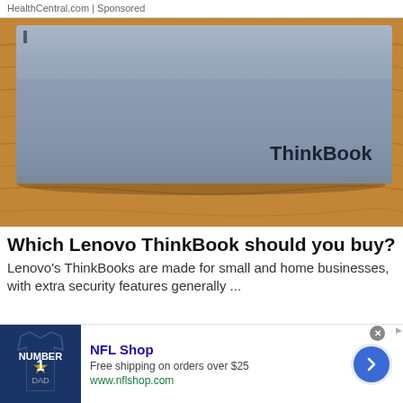HealthCentral.com | Sponsored
[Figure (photo): Lenovo ThinkBook laptop closed lid resting on a wooden surface, silver/grey color with 'ThinkBook' branding visible on the bottom right of the lid]
Which Lenovo ThinkBook should you buy?
Lenovo's ThinkBooks are made for small and home businesses, with extra security features generally ...
[Figure (infographic): NFL Shop advertisement: image of a Cowboys jersey, NFL Shop text, 'Free shipping on orders over $25', www.nflshop.com, arrow button on right side]